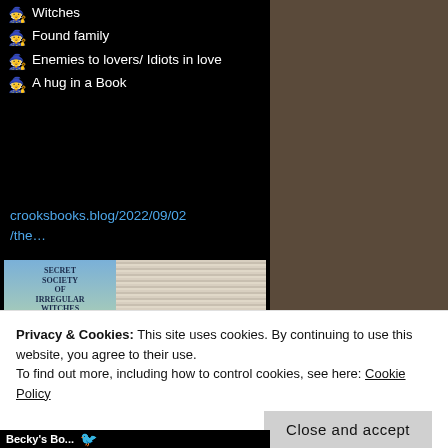🧙 Witches
🧙 Found family
🧙 Enemies to lovers/ Idiots in love
🧙 A hug in a Book
crooksbooks.blog/2022/09/02/the…
[Figure (photo): Book review image showing the cover of 'The Secret Society of Irregular Witches' alongside stacked book pages background with text 'BOOK REVIEW!']
crooksbooks.blog
Privacy & Cookies: This site uses cookies. By continuing to use this website, you agree to their use. To find out more, including how to control cookies, see here: Cookie Policy
Close and accept
Becky's Bo...